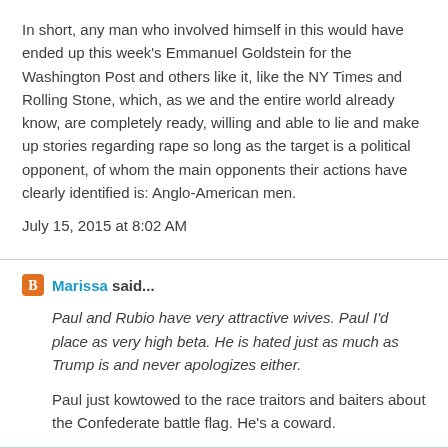In short, any man who involved himself in this would have ended up this week's Emmanuel Goldstein for the Washington Post and others like it, like the NY Times and Rolling Stone, which, as we and the entire world already know, are completely ready, willing and able to lie and make up stories regarding rape so long as the target is a political opponent, of whom the main opponents their actions have clearly identified is: Anglo-American men.
July 15, 2015 at 8:02 AM
Marissa said...
Paul and Rubio have very attractive wives. Paul I'd place as very high beta. He is hated just as much as Trump is and never apologizes either.
Paul just kowtowed to the race traitors and baiters about the Confederate battle flag. He's a coward.
July 15, 2015 at 8:18 AM